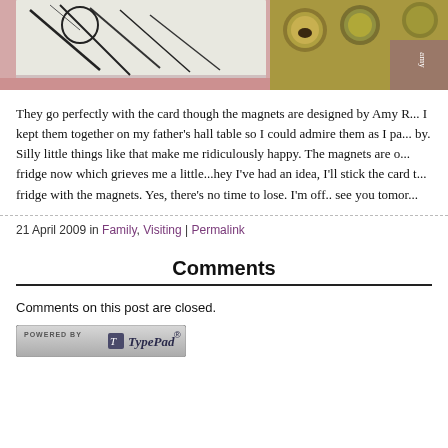[Figure (photo): Cropped photo showing decorative cards and round magnets/tins with bird designs on a pink surface, partially visible]
They go perfectly with the card though the magnets are designed by Amy R... I kept them together on my father's hall table so I could admire them as I pa... by. Silly little things like that make me ridiculously happy. The magnets are o... fridge now which grieves me a little...hey I've had an idea, I'll stick the card t... fridge with the magnets. Yes, there's no time to lose. I'm off.. see you tomor...
21 April 2009 in Family, Visiting | Permalink
Comments
Comments on this post are closed.
[Figure (logo): Powered by TypePad badge/button]